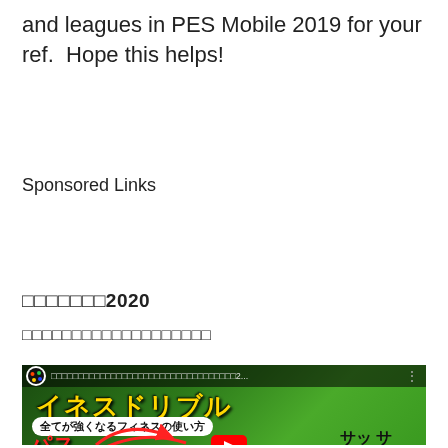and leagues in PES Mobile 2019 for your ref.  Hope this helps!
Sponsored Links
□□□□□□□2020
□□□□□□□□□□□□□□□□□□□
[Figure (screenshot): YouTube video thumbnail showing Japanese text about finesse dribbling in a soccer/football game, with yellow Japanese characters, red Japanese text (パス, ドリブル, シュート), a YouTube play button, and a soccer player on a green field background.]